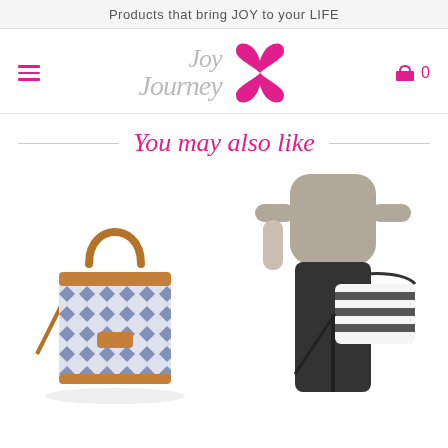Products that bring JOY to your LIFE
[Figure (logo): Joy Journey brand logo with grey cursive text and pink butterfly/infinity symbol]
You may also like
[Figure (photo): Blue and white diamond-pattern woven tote bag with tan leather handles and shoulder strap]
[Figure (photo): Woman wearing grey top and black pants holding a black and white striped woven handbag]